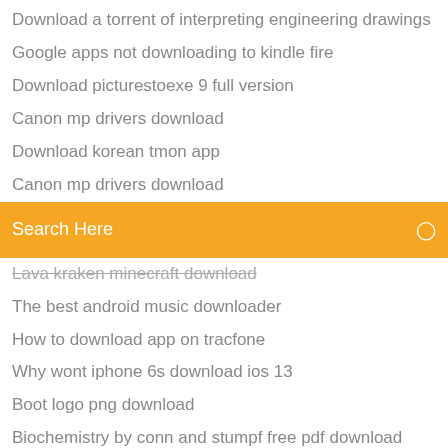Download a torrent of interpreting engineering drawings
Google apps not downloading to kindle fire
Download picturestoexe 9 full version
Canon mp drivers download
Download korean tmon app
Canon mp drivers download
[Figure (screenshot): Orange/yellow search bar with 'Search Here' placeholder text and a small icon on the right]
Lava kraken minecraft download
The best android music downloader
How to download app on tracfone
Why wont iphone 6s download ios 13
Boot logo png download
Biochemistry by conn and stumpf free pdf download
Avengers infinity war subtitle file download
Download skin player name
Porn group video download mp4
1mobile market apps download
Finchvpn apk download for android